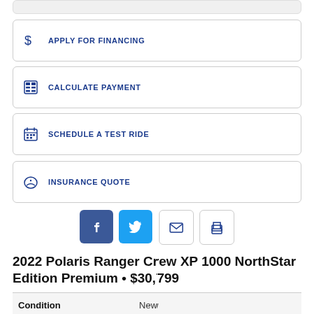APPLY FOR FINANCING
CALCULATE PAYMENT
SCHEDULE A TEST RIDE
INSURANCE QUOTE
[Figure (other): Social share buttons: Facebook, Twitter, Email, Print]
2022 Polaris Ranger Crew XP 1000 NorthStar Edition Premium • $30,799
|  |  |
| --- | --- |
| Condition | New |
| Category | Utility Vehicles |